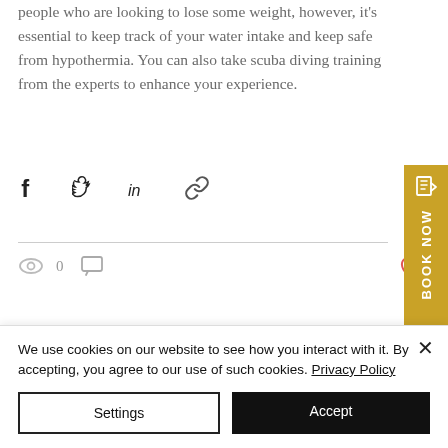people who are looking to lose some weight, however, it's essential to keep track of your water intake and keep safe from hypothermia. You can also take scuba diving training from the experts to enhance your experience.
[Figure (other): Social share icons: Facebook, Twitter, LinkedIn, and link/copy icon]
[Figure (other): Post stats bar: eye/views icon with count 0, comment icon, and heart/like icon on the right]
[Figure (other): Book Now sidebar button in gold/yellow with booking icon and vertical text BOOK NOW]
We use cookies on our website to see how you interact with it. By accepting, you agree to our use of such cookies. Privacy Policy
Settings
Accept